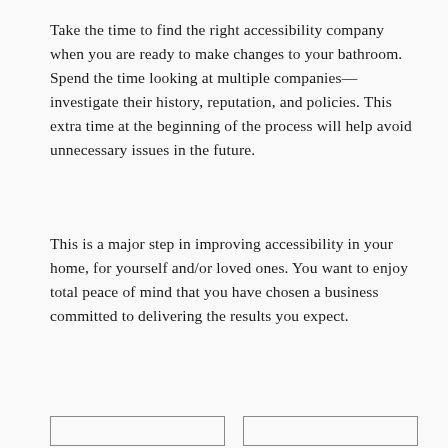Take the time to find the right accessibility company when you are ready to make changes to your bathroom. Spend the time looking at multiple companies— investigate their history, reputation, and policies. This extra time at the beginning of the process will help avoid unnecessary issues in the future.
This is a major step in improving accessibility in your home, for yourself and/or loved ones. You want to enjoy total peace of mind that you have chosen a business committed to delivering the results you expect.